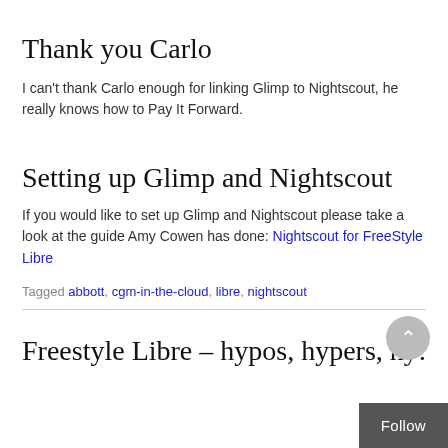Thank you Carlo
I can't thank Carlo enough for linking Glimp to Nightscout, he really knows how to Pay It Forward.
Setting up Glimp and Nightscout
If you would like to set up Glimp and Nightscout please take a look at the guide Amy Cowen has done: Nightscout for FreeStyle Libre
Tagged abbott, cgm-in-the-cloud, libre, nightscout
Freestyle Libre – hypos, hypers, hy…